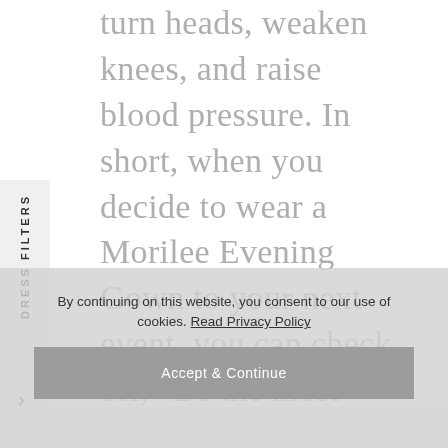turn heads, weaken knees, and raise blood pressure. In short, when you decide to wear a Morilee Evening Gown to your next event, you can check off, “Be the most striking person in the room” on your to-do list.
DRESS FILTERS
By continuing on this website, you consent to our use of cookies. Read Privacy Policy
Accept & Continue